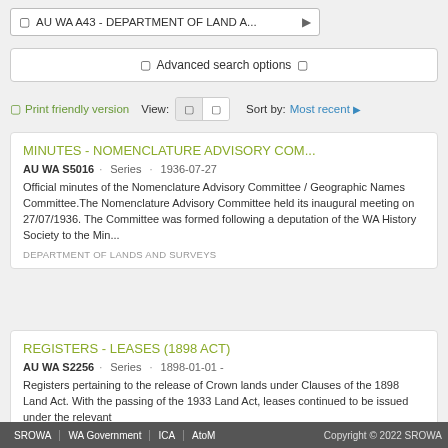AU WA A43 - DEPARTMENT OF LAND A...
Advanced search options
Print friendly version   View:   Sort by: Most recent
MINUTES - NOMENCLATURE ADVISORY COM...
AU WA S5016 · Series · 1936-07-27
Official minutes of the Nomenclature Advisory Committee / Geographic Names Committee.The Nomenclature Advisory Committee held its inaugural meeting on 27/07/1936. The Committee was formed following a deputation of the WA History Society to the Min...
DEPARTMENT OF LANDS AND SURVEYS
REGISTERS - LEASES (1898 ACT)
AU WA S2256 · Series · 1898-01-01 -
Registers pertaining to the release of Crown lands under Clauses of the 1898 Land Act. With the passing of the 1933 Land Act, leases continued to be issued under the relevant
SROWA   WA Government   ICA   AtoM   Copyright © 2022 SROWA